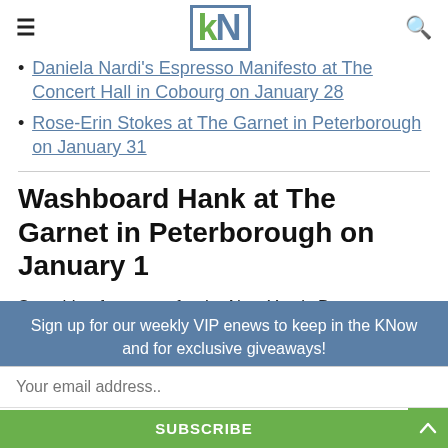kN (logo)
Daniela Nardi's Espresso Manifesto at The Concert Hall in Cobourg on January 28
Rose-Erin Stokes at The Garnet in Peterborough on January 31
Washboard Hank at The Garnet in Peterborough on January 1
Searching for a cure for the New Year's Day hangover? The perfect antidote might just be local legend Washboard
Sign up for our weekly VIP enews to keep in the KNow and for exclusive giveaways!
Your email address..
SUBSCRIBE